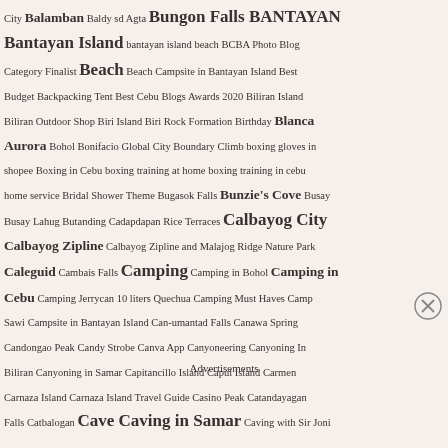City Balamban Baldy sd Agta Bungon Falls BANTAYAN Bantayan Island bantayan island beach BCBA Photo Blog Category Finalist Beach Beach Campsite in Bantayan Island Best Budget Backpacking Tent Best Cebu Blogs Awards 2020 Biliran Island Biliran Outdoor Shop Biri Island Biri Rock Formation Birthday Blanca Aurora Bohol Bonifacio Global City Boundary Climb boxing gloves in shopee Boxing in Cebu boxing training at home boxing training in cebu home service Bridal Shower Theme Bugasok Falls Bunzie's Cove Busay Busay Lahug Butanding Cadapdapan Rice Terraces Calbayog City Calbayog Zipline Calbayog Zipline and Malajog Ridge Nature Park Caleguid Cambais Falls Camping Camping in Bohol Camping in Cebu Camping Jerrycan 10 liters Quechua Camping Must Haves Camp Sawi Campsite in Bantayan Island Can-umantad Falls Canawa Spring Candongao Peak Candy Strobe Canva App Canyoneering Canyoning In Biliran Canyoning in Samar Capitancillo Island Capul Island Carmen Carnaza Island Carnaza Island Travel Guide Casino Peak Catandayagan Falls Catbalogan Cave Caving in Samar Caving with Sir Joni
Advertisements